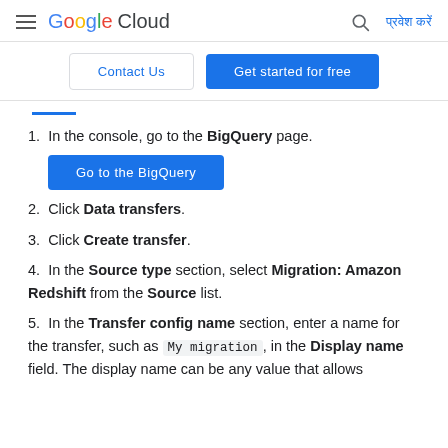Google Cloud  [search icon]  प्रवेश करें
[Figure (screenshot): Google Cloud navigation header with hamburger menu, Google Cloud logo, search icon, and sign-in link in Hindi (प्रवेश करें)]
Contact Us  |  Get started for free
1. In the console, go to the BigQuery page.
[Figure (screenshot): Blue button labeled 'Go to the BigQuery']
2. Click Data transfers.
3. Click Create transfer.
4. In the Source type section, select Migration: Amazon Redshift from the Source list.
5. In the Transfer config name section, enter a name for the transfer, such as My migration, in the Display name field. The display name can be any value that allows